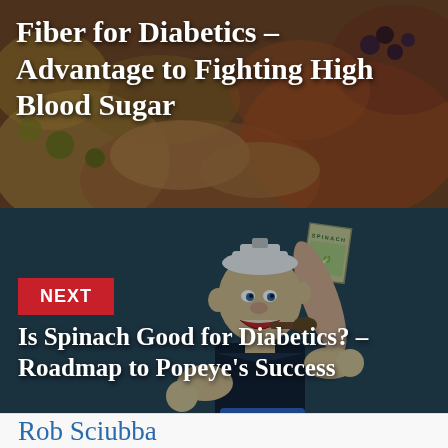[Figure (photo): Food background image with grains, vegetables, and assorted foods in warm earthy tones]
Fiber for Diabetics – Advantage to Fighting High Blood Sugar
[Figure (illustration): Popeye the Sailor Man cartoon character holding a can of spinach, set against a dark teal background]
NEXT
Is Spinach Good for Diabetics? – Roadmap to Popeye's Success
Rob Sciubba
[Figure (photo): Circular portrait photo of Rob Sciubba, a bald man]